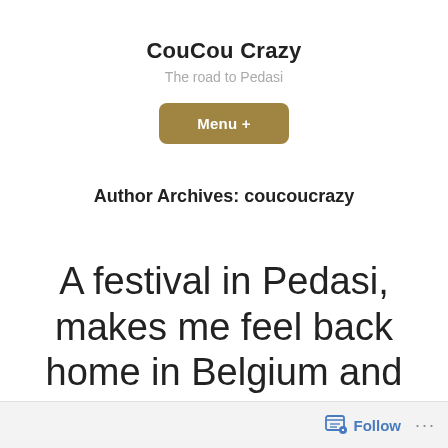CouCou Crazy
The road to Pedasi
[Figure (other): Menu + button, rounded rectangle, olive/tan color]
Author Archives: coucoucrazy
A festival in Pedasi, makes me feel back home in Belgium and more
Follow ...